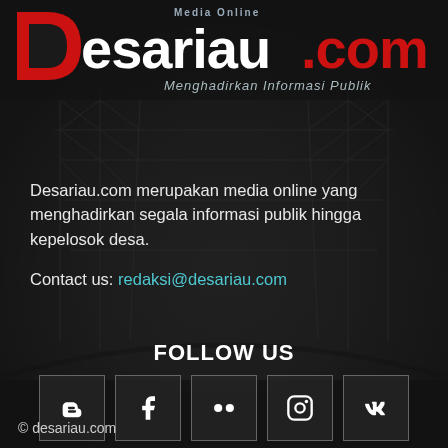[Figure (logo): Desariau.com media online logo with red D letter, red and white text reading 'desariau.com', subtitle 'Menghadirkan Informasi Publik']
Desariau.com merupakan media online yang menghadirkan segala informasi publik hingga kepelosok desa.
Contact us: redaksi@desariau.com
FOLLOW US
[Figure (infographic): Five social media icon boxes in a row: Blogger (B), Facebook (f), Flickr (..), Instagram (camera), VKontakte (VK)]
© desariau.com